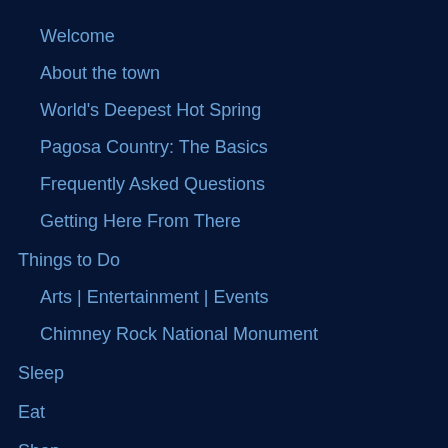Welcome
About the town
World's Deepest Hot Spring
Pagosa Country: The Basics
Frequently Asked Questions
Getting Here From There
Things to Do
Arts | Entertainment | Events
Chimney Rock National Monument
Sleep
Eat
Shop
Marijuana Laws